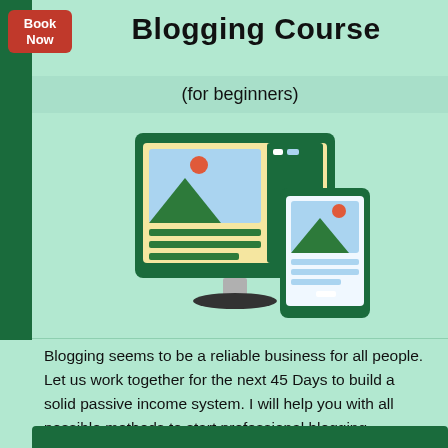Blogging Course
(for beginners)
[Figure (illustration): Illustration of a desktop monitor displaying a blog/website interface with image thumbnails, mountain scenery icons, and text lines, alongside a mobile phone showing similar content. Both devices rendered in dark green with cream/blue content panels.]
Blogging seems to be a reliable business for all people. Let us work together for the next 45 Days to build a solid passive income system. I will help you with all possible methods to start professional blogging.